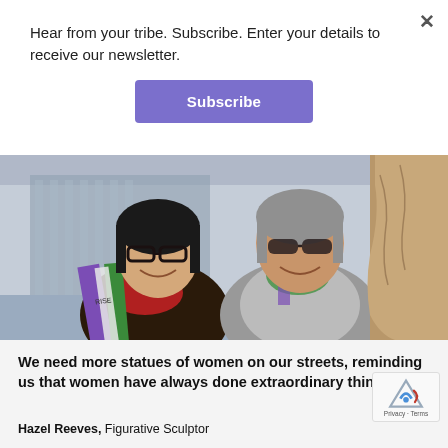Hear from your tribe. Subscribe. Enter your details to receive our newsletter.
Subscribe
[Figure (photo): Two women smiling in front of a bronze statue outdoors. One wears glasses and has a purple and green sash reading 'RISE'. Both are wearing scarves. A statue of a woman in a dress is visible on the right side of the image.]
We need more statues of women on our streets, reminding us that women have always done extraordinary things
Hazel Reeves, Figurative Sculptor